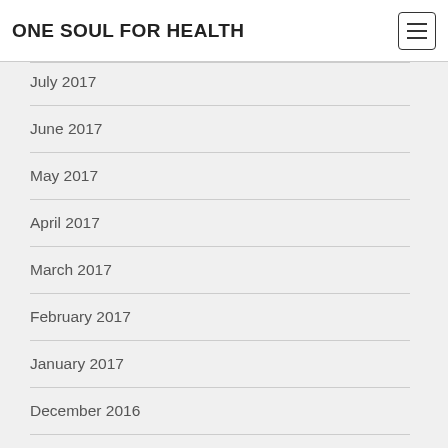ONE SOUL FOR HEALTH
July 2017
June 2017
May 2017
April 2017
March 2017
February 2017
January 2017
December 2016
November 2016
October 2016